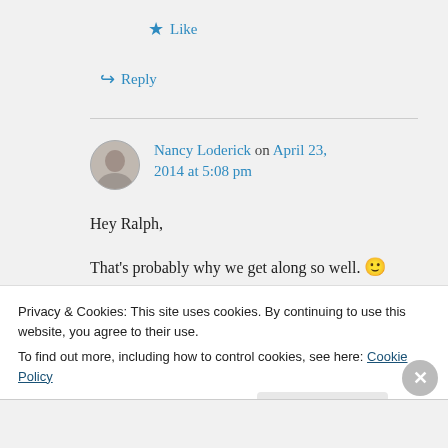★ Like
↪ Reply
Nancy Loderick on April 23, 2014 at 5:08 pm
Hey Ralph,
That's probably why we get along so well. 🙂
Privacy & Cookies: This site uses cookies. By continuing to use this website, you agree to their use. To find out more, including how to control cookies, see here: Cookie Policy
Close and accept